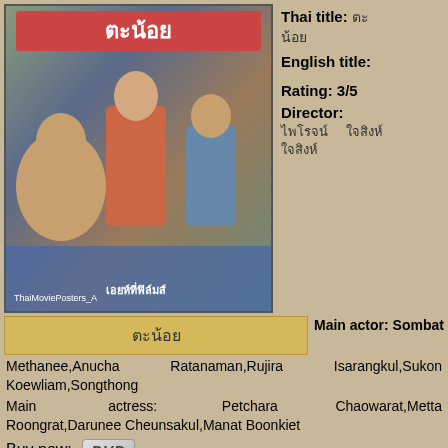[Figure (photo): Thai movie poster showing illustrated characters, colorful scene with Thai text title at top, watermark 'ThaiMoviePosters_A' at bottom left]
Thai title: ตะน้อย
English title:

Rating: 3/5
Director:
ไพโรจน์ ใจสิงห์
Main actor: Sombat Methanee,Anucha Ratanaman,Rujira Isarangkul,Sukon Koewliam,Songthong
Main actress: Petchara Chaowarat,Metta Roongrat,Darunee Cheunsakul,Manat Boonkiet
ตะน้อย
Buy now: DVD
Thai movie ตะน้อย was released in year 1971 and lasts 1h54mn. The movie was released under VCD format by company TripleX. The picture is quite damaged but still a bit colorful. This is the last found copy of the movie. Movie director is ไพโรจน์ ใจสิงห์. Thai actors and actresses